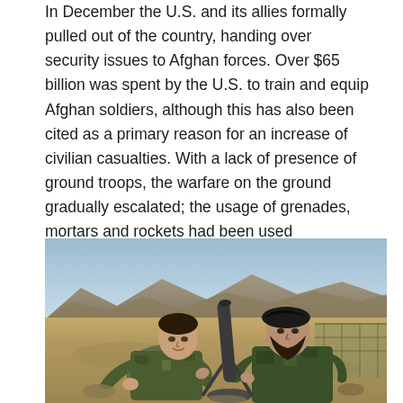In December the U.S. and its allies formally pulled out of the country, handing over security issues to Afghan forces. Over $65 billion was spent by the U.S. to train and equip Afghan soldiers, although this has also been cited as a primary reason for an increase of civilian casualties. With a lack of presence of ground troops, the warfare on the ground gradually escalated; the usage of grenades, mortars and rockets had been used sporadically in heavily populated areas.
[Figure (photo): Two soldiers in camouflage uniforms operating a mortar in a desert/arid landscape with mountains in the background. One soldier is younger and wearing no hat; the other is bearded and wearing a black beret. They appear to be Afghan National Army soldiers.]